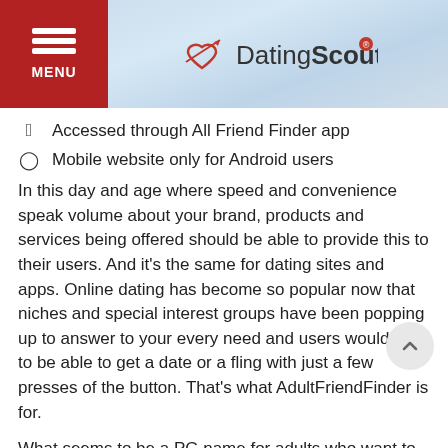DatingScout
Accessed through All Friend Finder app
Mobile website only for Android users
In this day and age where speed and convenience speak volume about your brand, products and services being offered should be able to provide this to their users. And it's the same for dating sites and apps. Online dating has become so popular now that niches and special interest groups have been popping up to answer to your every need and users would like to be able to get a date or a fling with just a few presses of the button. That's what AdultFriendFinder is for.
What seems to be a PG name for adults who want to expand their social circle, Adultfriendfinder is not what you think it means. Beyond the wholesome-sounding name is a